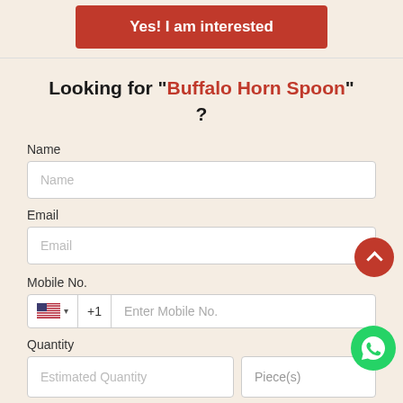[Figure (other): Red button labeled 'Yes! I am interested']
Looking for "Buffalo Horn Spoon" ?
Name
[Figure (other): Name input field with placeholder 'Name']
Email
[Figure (other): Email input field with placeholder 'Email']
Mobile No.
[Figure (other): Mobile number input with US flag, +1 country code, and placeholder 'Enter Mobile No.']
Quantity
[Figure (other): Quantity row with two fields: 'Estimated Quantity' and 'Piece(s)']